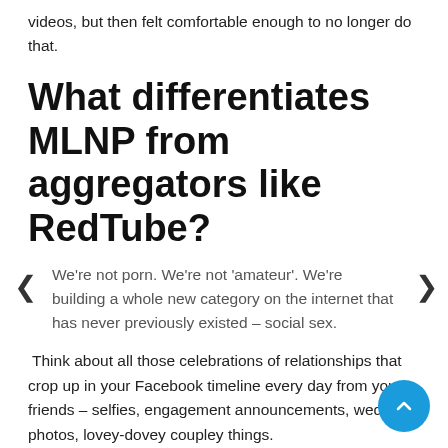videos, but then felt comfortable enough to no longer do that.
What differentiates MLNP from aggregators like RedTube?
We're not porn. We're not 'amateur'. We're building a whole new category on the internet that has never previously existed – social sex.
Think about all those celebrations of relationships that crop up in your Facebook timeline every day from your friends – selfies, engagement announcements, wedding photos, lovey-dovey coupley things.
All we're doing is providing a platform to celebrate that